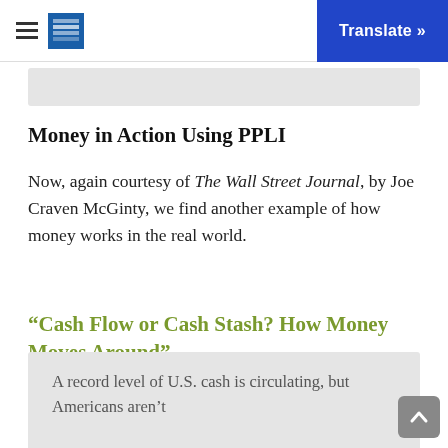Translate »
Money in Action Using PPLI
Now, again courtesy of The Wall Street Journal, by Joe Craven McGinty, we find another example of how money works in the real world.
“Cash Flow or Cash Stash? How Money Moves Around”
A record level of U.S. cash is circulating, but Americans aren’t